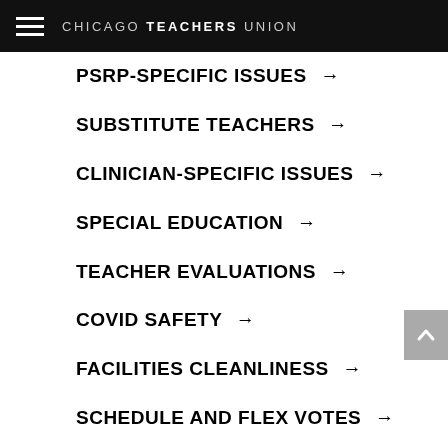CHICAGO TEACHERS UNION
PSRP-SPECIFIC ISSUES →
SUBSTITUTE TEACHERS →
CLINICIAN-SPECIFIC ISSUES →
SPECIAL EDUCATION →
TEACHER EVALUATIONS →
COVID SAFETY →
FACILITIES CLEANLINESS →
SCHEDULE AND FLEX VOTES →
CLASS SIZE →